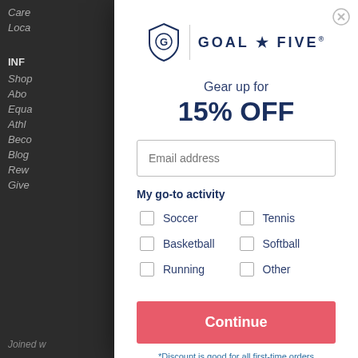[Figure (logo): Goal Five shield logo with text GOAL * FIVE]
Gear up for
15% OFF
Email address
My go-to activity
Soccer
Tennis
Basketball
Softball
Running
Other
Continue
*Discount is good for all first-time orders